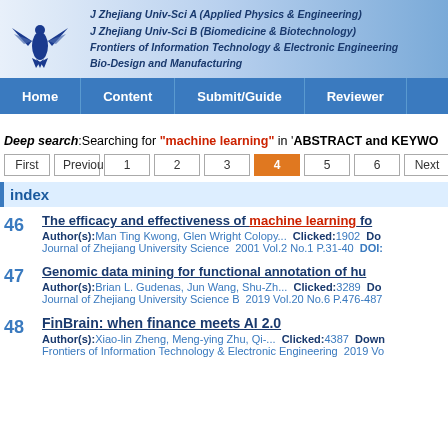J Zhejiang Univ-Sci A (Applied Physics & Engineering)
J Zhejiang Univ-Sci B (Biomedicine & Biotechnology)
Frontiers of Information Technology & Electronic Engineering
Bio-Design and Manufacturing
Home | Content | Submit/Guide | Reviewer
Deep search:Searching for "machine learning" in 'ABSTRACT and KEYWO...
First  Previous  1  2  3  4  5  6  Next  Last
index
46 - The efficacy and effectiveness of machine learning fo...
Author(s): Man Ting Kwong, Glen Wright Colopy...  Clicked:1902  Do...
Journal of Zhejiang University Science  2001 Vol.2 No.1 P.31-40  DOI:...
47 - Genomic data mining for functional annotation of hu...
Author(s): Brian L. Gudenas, Jun Wang, Shu-Zh...  Clicked:3289  Do...
Journal of Zhejiang University Science B  2019 Vol.20 No.6 P.476-487...
48 - FinBrain: when finance meets AI 2.0
Author(s): Xiao-lin Zheng, Meng-ying Zhu, Qi-...  Clicked:4387  Down...
Frontiers of Information Technology & Electronic Engineering  2019 Vo...